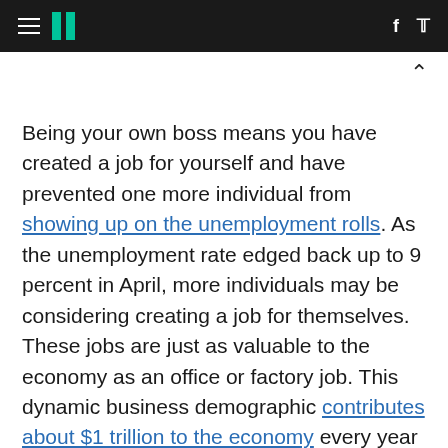HuffPost navigation header with hamburger menu, logo, Facebook and Twitter icons
Being your own boss means you have created a job for yourself and have prevented one more individual from showing up on the unemployment rolls. As the unemployment rate edged back up to 9 percent in April, more individuals may be considering creating a job for themselves. These jobs are just as valuable to the economy as an office or factory job. This dynamic business demographic contributes about $1 trillion to the economy every year -- no myth.